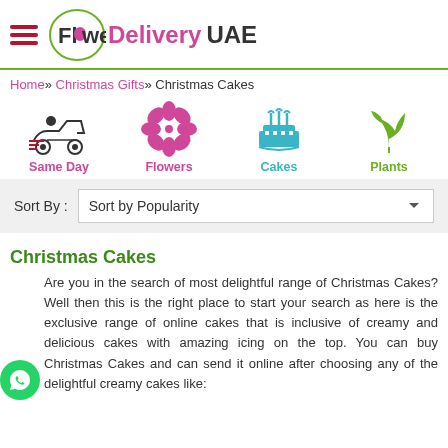Flower Delivery UAE
Home » Christmas Gifts » Christmas Cakes
[Figure (infographic): Navigation icons: Same Day (scooter), Flowers (flower icon), Cakes (cake icon), Plants (plant icon)]
Sort By: Sort by Popularity
Christmas Cakes
Are you in the search of most delightful range of Christmas Cakes? Well then this is the right place to start your search as here is the exclusive range of online cakes that is inclusive of creamy and delicious cakes with amazing icing on the top. You can buy Christmas Cakes and can send it online after choosing any of the delightful creamy cakes like: